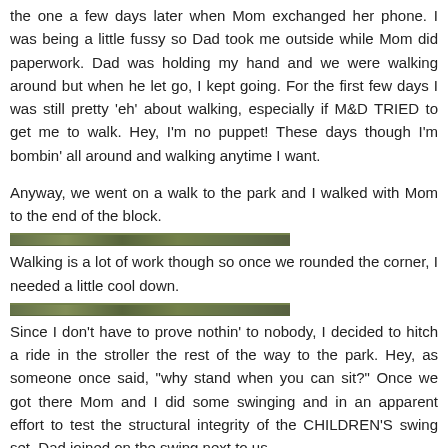the one a few days later when Mom exchanged her phone. I was being a little fussy so Dad took me outside while Mom did paperwork. Dad was holding my hand and we were walking around but when he let go, I kept going. For the first few days I was still pretty 'eh' about walking, especially if M&D TRIED to get me to walk. Hey, I'm no puppet! These days though I'm bombin' all around and walking anytime I want.
Anyway, we went on a walk to the park and I walked with Mom to the end of the block.
[Figure (photo): A decorative horizontal divider image resembling foliage or a camouflage strip]
Walking is a lot of work though so once we rounded the corner, I needed a little cool down.
[Figure (photo): A second decorative horizontal divider image resembling foliage or a camouflage strip]
Since I don't have to prove nothin' to nobody, I decided to hitch a ride in the stroller the rest of the way to the park. Hey, as someone once said, "why stand when you can sit?" Once we got there Mom and I did some swinging and in an apparent effort to test the structural integrity of the CHILDREN'S swing set, Dad joined on the swing next to us.
[Figure (photo): Bottom strip showing partial photo with red item and outdoor scene]